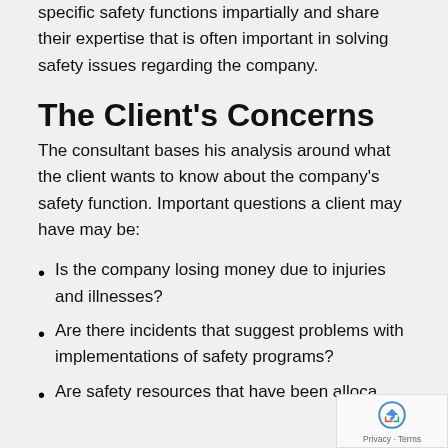specific safety functions impartially and share their expertise that is often important in solving safety issues regarding the company.
The Client's Concerns
The consultant bases his analysis around what the client wants to know about the company's safety function. Important questions a client may have may be:
Is the company losing money due to injuries and illnesses?
Are there incidents that suggest problems with implementations of safety programs?
Are safety resources that have been allocated...